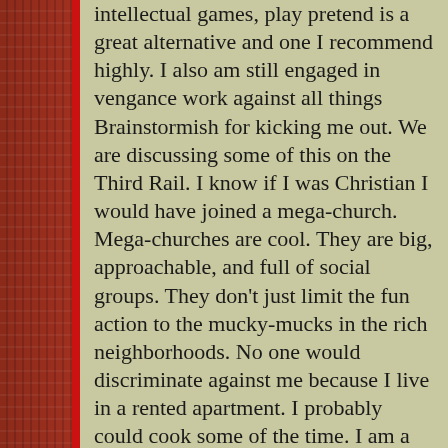intellectual games, play pretend is a great alternative and one I recommend highly. I also am still engaged in vengance work against all things Brainstormish for kicking me out. We are discussing some of this on the Third Rail. I know if I was Christian I would have joined a mega-church. Mega-churches are cool. They are big, approachable, and full of social groups. They don't just limit the fun action to the mucky-mucks in the rich neighborhoods. No one would discriminate against me because I live in a rented apartment. I probably could cook some of the time. I am a Jew and we don't have mega-churches. We are just not